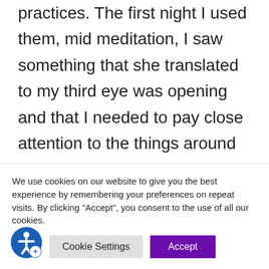practices. The first night I used them, mid meditation, I saw something that she translated to my third eye was opening and that I needed to pay close attention to the things around me. When I did my meditation (afore mentioned) I held a quartz in my
We use cookies on our website to give you the best experience by remembering your preferences on repeat visits. By clicking "Accept", you consent to the use of all our cookies.
Cookie Settings | Accept